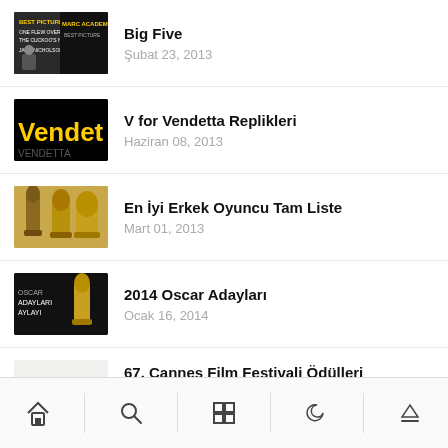Big Five
Şubat 23, 2013
V for Vendetta Replikleri
Haziran 08, 2013
En İyi Erkek Oyuncu Tam Liste
Mart 01, 2013
2014 Oscar Adayları
Ocak 16, 2014
67. Cannes Film Festivali Ödülleri Kazananlar
Mayıs 25, 2014